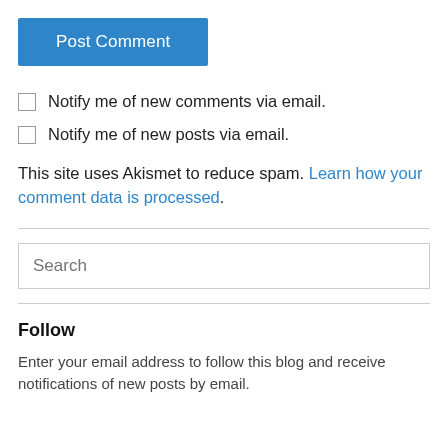Post Comment
Notify me of new comments via email.
Notify me of new posts via email.
This site uses Akismet to reduce spam. Learn how your comment data is processed.
Search
Follow
Enter your email address to follow this blog and receive notifications of new posts by email.